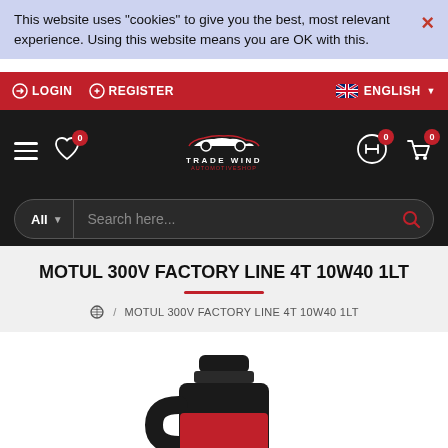This website uses "cookies" to give you the best, most relevant experience. Using this website means you are OK with this.
LOGIN  REGISTER  ENGLISH
[Figure (screenshot): Black navigation header with hamburger menu, heart icon with badge 0, Trade Wind logo in center, compare icon with badge 0, cart icon with badge 0]
[Figure (screenshot): Search bar with 'All' dropdown and 'Search here...' placeholder and search button]
MOTUL 300V FACTORY LINE 4T 10W40 1LT
MOTUL 300V FACTORY LINE 4T 10W40 1LT
[Figure (photo): Partial view of a Motul 300V motor oil bottle, showing the black cap and upper portion of the red bottle]